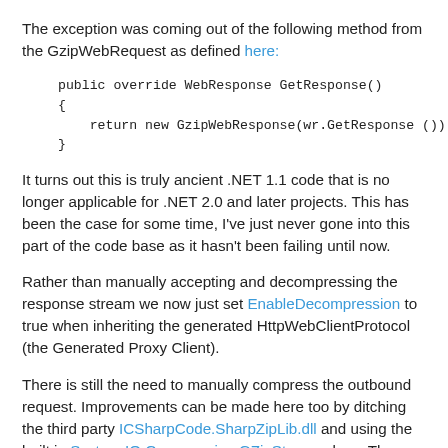The exception was coming out of the following method from the GzipWebRequest as defined here:
public override WebResponse GetResponse()
{
    return new GzipWebResponse(wr.GetResponse ());
}
It turns out this is truly ancient .NET 1.1 code that is no longer applicable for .NET 2.0 and later projects. This has been the case for some time, I've just never gone into this part of the code base as it hasn't been failing until now.
Rather than manually accepting and decompressing the response stream we now just set EnableDecompression to true when inheriting the generated HttpWebClientProtocol (the Generated Proxy Client).
There is still the need to manually compress the outbound request. Improvements can be made here too by ditching the third party ICSharpCode.SharpZipLib.dll and using the built in System.IO.Compression.GZipStream class. There isn't anything wrong with the SharpZipLib but it's one less DLL to